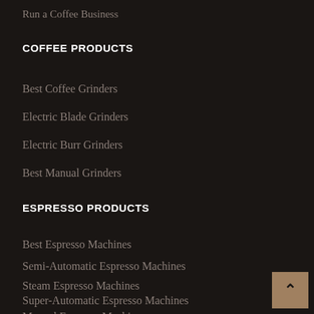Run a Coffee Business
COFFEE PRODUCTS
Best Coffee Grinders
Electric Blade Grinders
Electric Burr Grinders
Best Manual Grinders
ESPRESSO PRODUCTS
Best Espresso Machines
Semi-Automatic Espresso Machines
Steam Espresso Machines
Super-Automatic Espresso Machines
Manual Espresso Machines